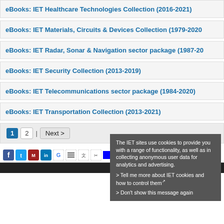eBooks: IET Healthcare Technologies Collection (2016-2021)
eBooks: IET Materials, Circuits & Devices Collection (1979-2020)
eBooks: IET Radar, Sonar & Navigation sector package (1987-20...)
eBooks: IET Security Collection (2013-2019)
eBooks: IET Telecommunications sector package (1984-2020)
eBooks: IET Transportation Collection (2013-2021)
1  2  |  Next >
[Figure (screenshot): Social sharing icons: Facebook, Twitter, Mendeley, LinkedIn, Google, and other sharing buttons]
The IET sites use cookies to provide you with a range of functionality, as well as in collecting anonymous user data for analytics and advertising.
> Tell me more about IET cookies and how to control them
> Don't show this message again
Journals | Books | Magazines | Standards | Reference  |  Help | Copy...